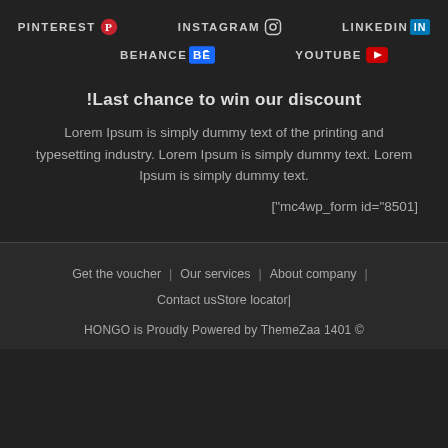PINTEREST | INSTAGRAM | LINKEDIN | BEHANCE | YOUTUBE
!Last chance to win our discount
Lorem Ipsum is simply dummy text of the printing and typesetting industry. Lorem Ipsum is simply dummy text. Lorem Ipsum is simply dummy text.
["mc4wp_form id="8501"]
Get the voucher | Our services | About company | Contact us Store locator | HONGO is Proudly Powered by ThemeZaa 1401 ©